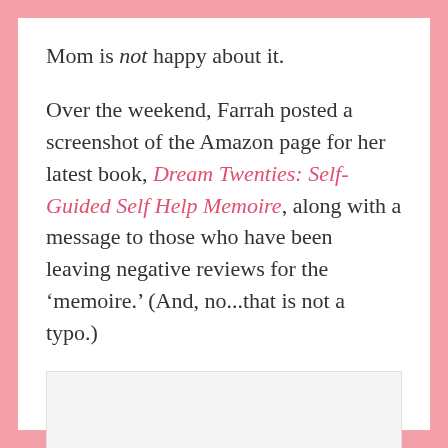Mom is not happy about it.
Over the weekend, Farrah posted a screenshot of the Amazon page for her latest book, Dream Twenties: Self-Guided Self Help Memoire, along with a message to those who have been leaving negative reviews for the ‘memoire.’ (And, no…that is not a typo.)
[Figure (screenshot): A screenshot placeholder shown as a light gray rectangle at the bottom of the content area.]